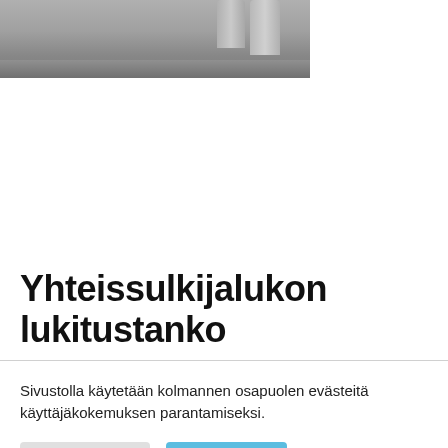[Figure (photo): Partial view of a metal locking bar/hardware piece with fingers or a hand touching it, cropped at top of page]
Yhteissulkijalukon lukitustanko
Sivustolla käytetään kolmannen osapuolen evästeitä käyttäjäkokemuksen parantamiseksi.
Asetukset   Hyväksy